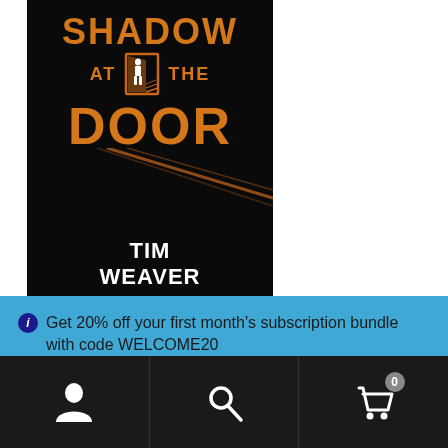[Figure (illustration): Book cover for 'Shadow at the Door' by Tim Weaver. Black background with orange title text 'SHADOW AT THE DOOR' and an orange silhouette of a person in a doorway. Author name 'TIM WEAVER' in white text at the bottom.]
Get 20% off your first month's subscription bundle with code WELCOME20
Dismiss